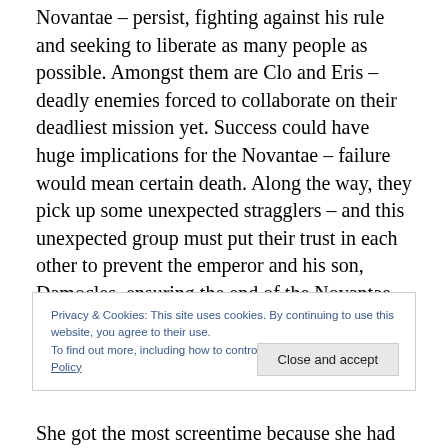Novantae – persist, fighting against his rule and seeking to liberate as many people as possible. Amongst them are Clo and Eris – deadly enemies forced to collaborate on their deadliest mission yet. Success could have huge implications for the Novantae – failure would mean certain death. Along the way, they pick up some unexpected stragglers – and this unexpected group must put their trust in each other to prevent the emperor and his son, Damocles, ensuring the end of the Novantae – and possibly the entire galaxy.
Privacy & Cookies: This site uses cookies. By continuing to use this website, you agree to their use. To find out more, including how to control cookies, see here: Cookie Policy
She got the most screentime because she had the most